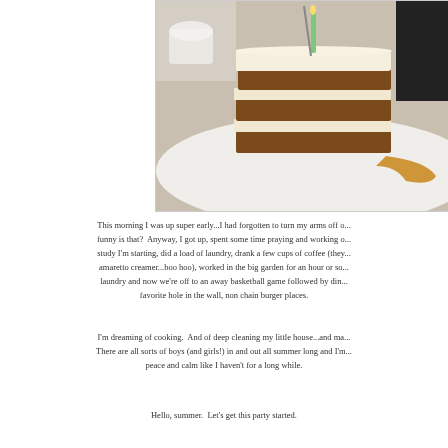[Figure (photo): A slice of layered cake with cream frosting and a candle on a white plate with caramel sauce, photographed at a restaurant table.]
This morning I was up super early...I had forgotten to turn my arms off o... funny is that?  Anyway, I got up, spent some time praying and working o... study I'm starting, did a load of laundry, drank a few cups of coffee (they... amaretto creamer...boo hoo), worked in the big garden for an hour or so... laundry and now we're off to an away basketball game followed by din... favorite hole in the wall, non chain burger places.
I'm dreaming of cooking.  And of deep cleaning my little house...and ma... There are all sorts of boys (and girls!) in and out all summer long and I'm... peace and calm like I haven't for a long while.
Hello, summer.  Let's get this party started.